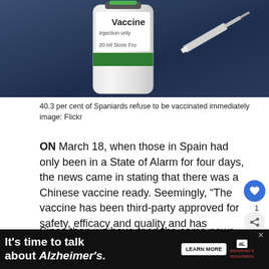[Figure (photo): Close-up photo of a vaccine vial labeled 'Vaccine', 'Injection only', '20 ml  Store Fro...' with a green label stripe, and a syringe in the background, on a dark blue surface.]
40.3 per cent of Spaniards refuse to be vaccinated immediately
image: Flickr
ON March 18, when those in Spain had only been in a State of Alarm for four days, the news came in stating that there was a Chinese vaccine ready. Seemingly, “The vaccine has been third-party approved for safety, efficacy and quality and has completed its preliminary preparation for mass production.”
Since then we have read the same news countless times.